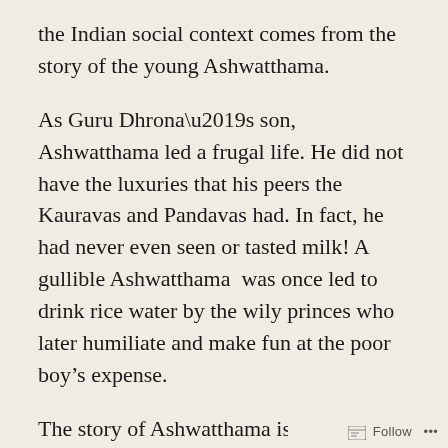the Indian social context comes from the story of the young Ashwatthama.
As Guru Dhrona’s son, Ashwatthama led a frugal life. He did not have the luxuries that his peers the Kauravas and Pandavas had. In fact, he had never even seen or tasted milk! A gullible Ashwatthama  was once led to drink rice water by the wily princes who later humiliate and make fun at the poor boy’s expense.
The story of Ashwatthama is relevant as the
Follow ...